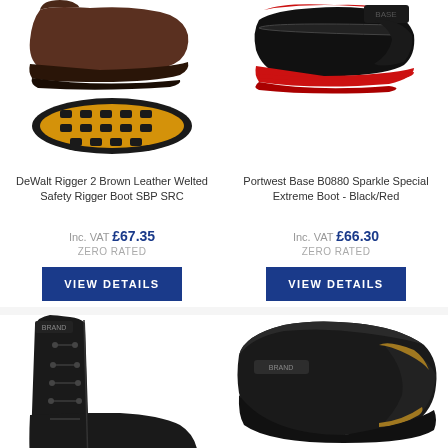[Figure (photo): DeWalt Rigger 2 brown leather safety rigger boot shown from side and sole view]
[Figure (photo): Portwest Base B0880 Sparkle Special Extreme Boot in Black/Red colorway]
DeWalt Rigger 2 Brown Leather Welted Safety Rigger Boot SBP SRC
Portwest Base B0880 Sparkle Special Extreme Boot - Black/Red
Inc. VAT £67.35
ZERO RATED
Inc. VAT £66.30
ZERO RATED
VIEW DETAILS
VIEW DETAILS
[Figure (photo): Black leather lace-up safety boot]
[Figure (photo): Black leather slip-on safety boot]